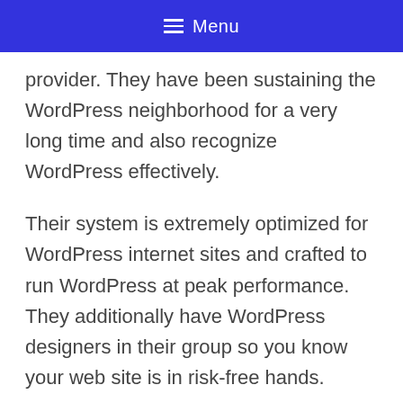☰ Menu
provider. They have been sustaining the WordPress neighborhood for a very long time and also recognize WordPress effectively.
Their system is extremely optimized for WordPress internet sites and crafted to run WordPress at peak performance. They additionally have WordPress designers in their group so you know your web site is in risk-free hands.